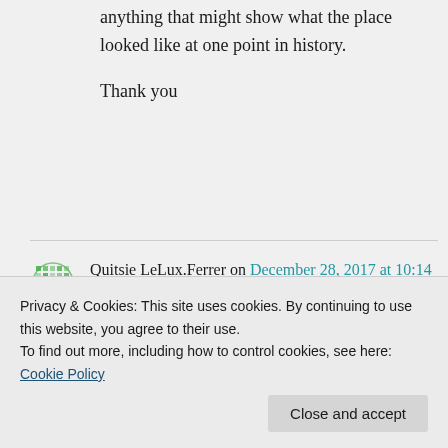anything that might show what the place looked like at one point in history.

Thank you
Quitsie LeLux.Ferrer on December 28, 2017 at 10:14 pm
Q.curiousone on January 31, 2014
Restaurant Diner. I'm hoping maybe
Privacy & Cookies: This site uses cookies. By continuing to use this website, you agree to their use.
To find out more, including how to control cookies, see here: Cookie Policy
Close and accept